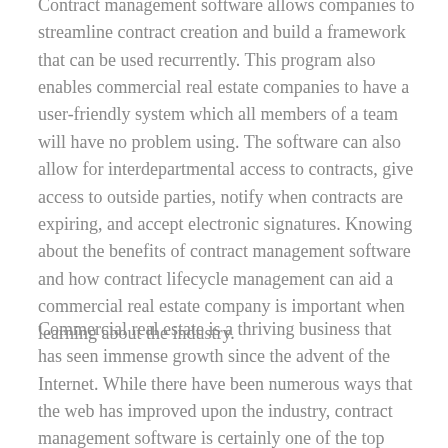Contract management software allows companies to streamline contract creation and build a framework that can be used recurrently. This program also enables commercial real estate companies to have a user-friendly system which all members of a team will have no problem using. The software can also allow for interdepartmental access to contracts, give access to outside parties, notify when contracts are expiring, and accept electronic signatures. Knowing about the benefits of contract management software and how contract lifecycle management can aid a commercial real estate company is important when learning about the industry.
Commercial real estate is a thriving business that has seen immense growth since the advent of the Internet. While there have been numerous ways that the web has improved upon the industry, contract management software is certainly one of the top programs from the web-era that has transformed commercial real estate. As the century continues, commercial real estate will continue to change, and